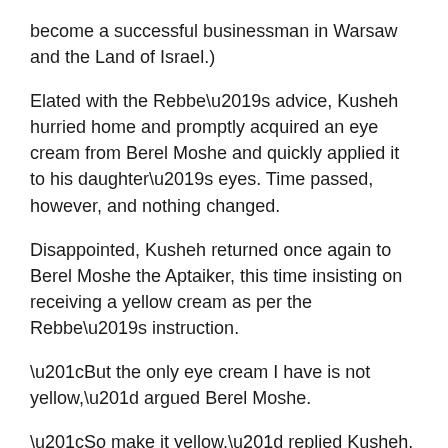become a successful businessman in Warsaw and the Land of Israel.)
Elated with the Rebbe's advice, Kusheh hurried home and promptly acquired an eye cream from Berel Moshe and quickly applied it to his daughter's eyes. Time passed, however, and nothing changed.
Disappointed, Kusheh returned once again to Berel Moshe the Aptaiker, this time insisting on receiving a yellow cream as per the Rebbe's instruction.
“But the only eye cream I have is not yellow,” argued Berel Moshe.
“So make it yellow,” replied Kusheh.
And that is exactly what he did. Kusheh applied the freshly pigmented cream to his daughter’s eyes, and they reverted to their original healthy state.